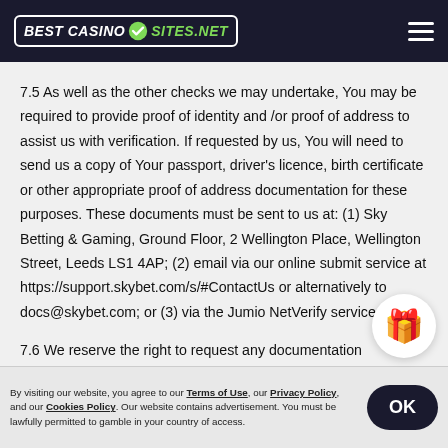BEST CASINO SITES.NET
7.5 As well as the other checks we may undertake, You may be required to provide proof of identity and /or proof of address to assist us with verification. If requested by us, You will need to send us a copy of Your passport, driver's licence, birth certificate or other appropriate proof of address documentation for these purposes. These documents must be sent to us at: (1) Sky Betting & Gaming, Ground Floor, 2 Wellington Place, Wellington Street, Leeds LS1 4AP; (2) email via our online submit service at https://support.skybet.com/s/#ContactUs or alternatively to docs@skybet.com; or (3) via the Jumio NetVerify service.
7.6 We reserve the right to request any documentation reasonably required in order to meet our legal and regulatory requirements or...
By visiting our website, you agree to our Terms of Use, our Privacy Policy, and our Cookies Policy. Our website contains advertisement. You must be lawfully permitted to gamble in your country of access.